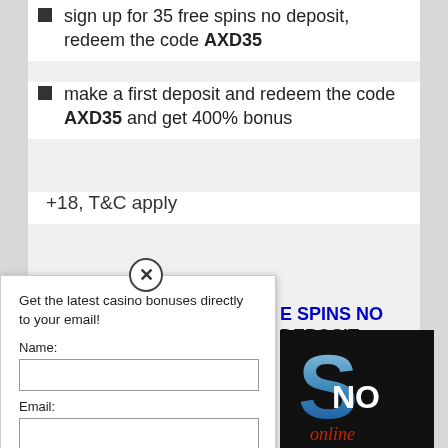sign up for 35 free spins no deposit, redeem the code AXD35
make a first deposit and redeem the code AXD35 and get 400% bonus
+18, T&C apply
Get the latest casino bonuses directly to your email!
Name:
Email:
SIGN UP NOW!
We respect your email privacy
Powered by AWeber Email Marketing
By subscribing you are certifying that you have reviewed and accepted our updated Privacy and Cookie policy.
E SPINS NO DEPOSIT
[Figure (logo): Casino logo on dark background showing stylized letters with blue/white design and 'online' text in red cursive]
CASINO GIVES $20 EPOSIT